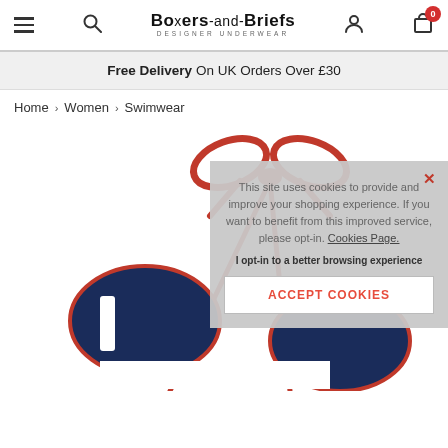Boxers-and-Briefs Designer Underwear — site header with navigation icons and cart (0)
Free Delivery On UK Orders Over £30
Home > Women > Swimwear
[Figure (photo): Product photo of a navy and red bikini swimwear item with a red bow/tie detail, partially obscured by a cookie consent overlay.]
This site uses cookies to provide and improve your shopping experience. If you want to benefit from this improved service, please opt-in. Cookies Page.
I opt-in to a better browsing experience
ACCEPT COOKIES